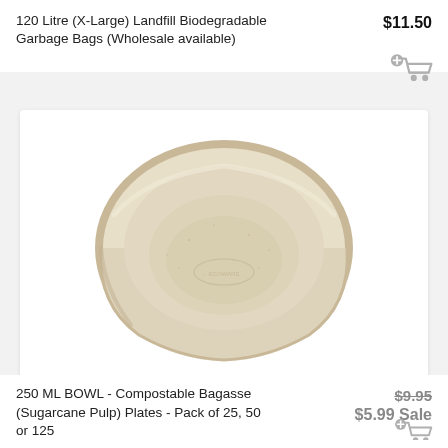120 Litre (X-Large) Landfill Biodegradable Garbage Bags (Wholesale available)
$11.50
[Figure (photo): Top-down view of a small beige/tan compostable bagasse bowl (sugarcane pulp), oval-shaped with rounded edges, photographed on a white background. A small embossed logo is visible on the inner base of the bowl.]
250 ML BOWL - Compostable Bagasse (Sugarcane Pulp) Plates - Pack of 25, 50 or 125
$9.95 $5.99 Sale